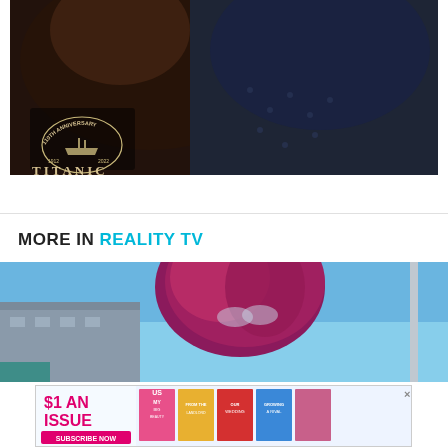[Figure (photo): Two people at a Titanic 110th Anniversary event, with a Titanic logo/emblem visible in the lower left of the image showing a ship and the years 1912-2022]
MORE IN REALITY TV
[Figure (photo): Person with red/magenta hair photographed outdoors with blue sky and building in background]
[Figure (advertisement): $1 An Issue - Subscribe Now - Us Weekly magazine advertisement with magazine covers]